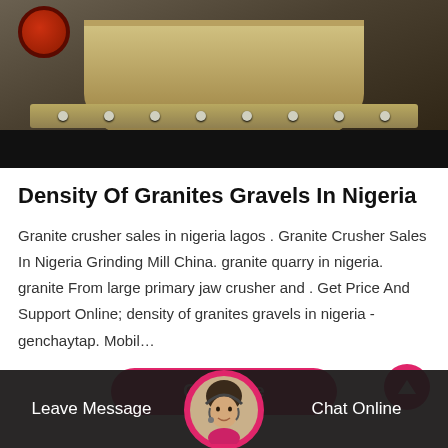[Figure (photo): Industrial grinding or crushing machine photographed from above, showing large circular bowl/base with yellow-tan finish, dark floor, and a red wheel visible in upper left corner.]
Density Of Granites Gravels In Nigeria
Granite crusher sales in nigeria lagos . Granite Crusher Sales In Nigeria Grinding Mill China. granite quarry in nigeria. granite From large primary jaw crusher and . Get Price And Support Online; density of granites gravels in nigeria - genchaytap. Mobil…
[Figure (other): Pink/magenta rounded rectangle button labeled 'Get Price' with a circular scroll-up arrow button to the right]
Leave Message   Chat Online